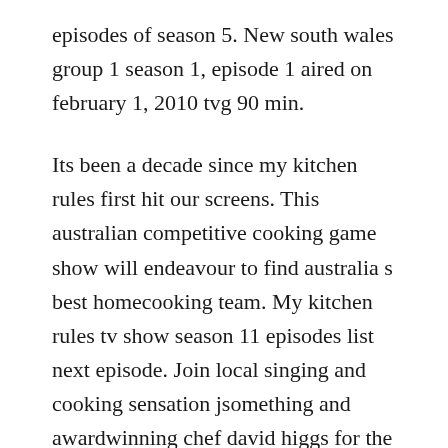episodes of season 5. New south wales group 1 season 1, episode 1 aired on february 1, 2010 tvg 90 min.
Its been a decade since my kitchen rules first hit our screens. This australian competitive cooking game show will endeavour to find australia s best homecooking team. My kitchen rules tv show season 11 episodes list next episode. Join local singing and cooking sensation jsomething and awardwinning chef david higgs for the south african version of this addictive cooking show. Braised lamb